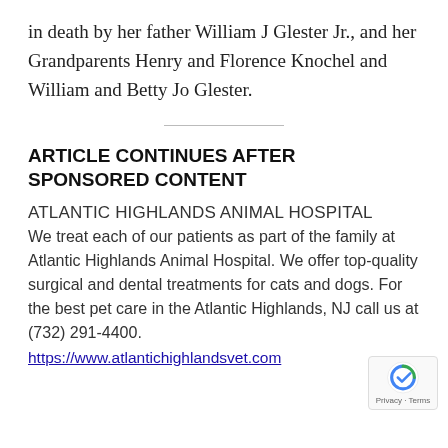in death by her father William J Glester Jr., and her Grandparents Henry and Florence Knochel and William and Betty Jo Glester.
ARTICLE CONTINUES AFTER SPONSORED CONTENT
ATLANTIC HIGHLANDS ANIMAL HOSPITAL
We treat each of our patients as part of the family at Atlantic Highlands Animal Hospital. We offer top-quality surgical and dental treatments for cats and dogs. For the best pet care in the Atlantic Highlands, NJ call us at (732) 291-4400.
https://www.atlantichighlandsvet.com